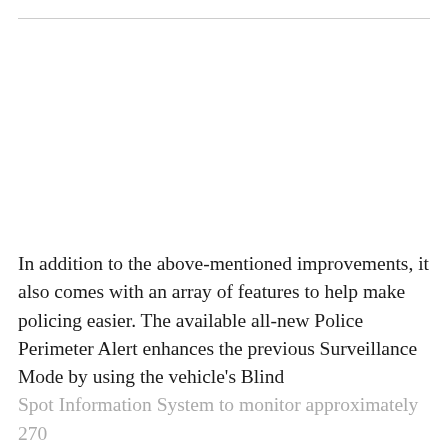In addition to the above-mentioned improvements, it also comes with an array of features to help make policing easier. The available all-new Police Perimeter Alert enhances the previous Surveillance Mode by using the vehicle's Blind Spot Information System to monitor approximately 270